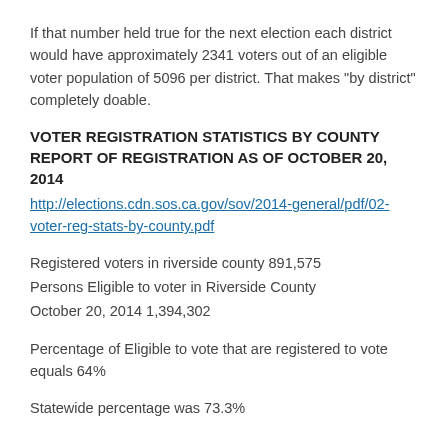If that number held true for the next election each district would have approximately 2341 voters out of an eligible voter population of 5096 per district. That makes “by district” completely doable.
VOTER REGISTRATION STATISTICS BY COUNTY REPORT OF REGISTRATION AS OF OCTOBER 20, 2014
http://elections.cdn.sos.ca.gov/sov/2014-general/pdf/02-voter-reg-stats-by-county.pdf
Registered voters in riverside county 891,575
Persons Eligible to voter in Riverside County
October 20, 2014 1,394,302
Percentage of Eligible to vote that are registered to vote equals 64%
Statewide percentage was 73.3%